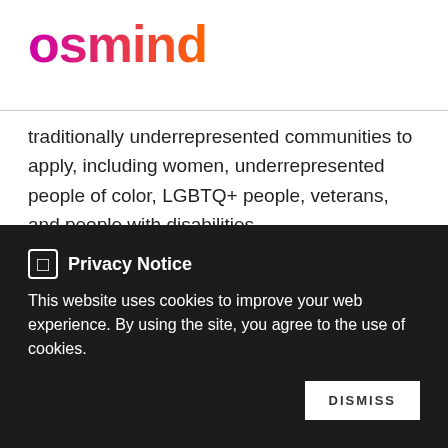[Figure (logo): Osmind logo in gradient pink-to-orange text]
traditionally underrepresented communities to apply, including women, underrepresented people of color, LGBTQ+ people, veterans, and people with disabilities.
Osmind is a public benefit corporation and platform for clinicians and researchers advancing new life-saving mental health treatments. We recently published our first Public
Privacy Notice
This website uses cookies to improve your web experience. By using the site, you agree to the use of cookies.